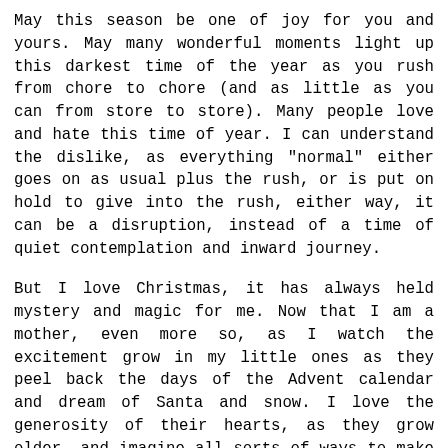May this season be one of joy for you and yours. May many wonderful moments light up this darkest time of the year as you rush from chore to chore (and as little as you can from store to store). Many people love and hate this time of year. I can understand the dislike, as everything "normal" either goes on as usual plus the rush, or is put on hold to give into the rush, either way, it can be a disruption, instead of a time of quiet contemplation and inward journey.
But I love Christmas, it has always held mystery and magic for me. Now that I am a mother, even more so, as I watch the excitement grow in my little ones as they peel back the days of the Advent calendar and dream of Santa and snow. I love the generosity of their hearts, as they grow older, and imagine all sorts of ways to make another person happy on Christmas.
Solstice and its rites have taken on significance for us as well. The rebirth of the sun and the promise of the coming spring become more precious with each year that I am alive to witness it. I may love winter, but my bones feel the cold of